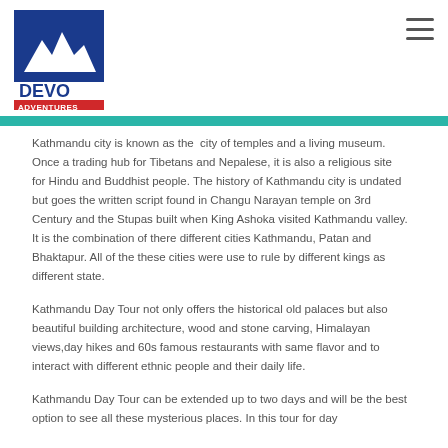[Figure (logo): Devo Adventures logo — blue square with white mountain silhouette, 'DEVO' in bold blue text, 'ADVENTURES' in white text on red banner below]
Kathmandu city is known as the  city of temples and a living museum. Once a trading hub for Tibetans and Nepalese, it is also a religious site for Hindu and Buddhist people. The history of Kathmandu city is undated but goes the written script found in Changu Narayan temple on 3rd Century and the Stupas built when King Ashoka visited Kathmandu valley. It is the combination of there different cities Kathmandu, Patan and Bhaktapur. All of the these cities were use to rule by different kings as different state.
Kathmandu Day Tour not only offers the historical old palaces but also beautiful building architecture, wood and stone carving, Himalayan views,day hikes and 60s famous restaurants with same flavor and to interact with different ethnic people and their daily life.
Kathmandu Day Tour can be extended up to two days and will be the best option to see all these mysterious places. In this tour for day